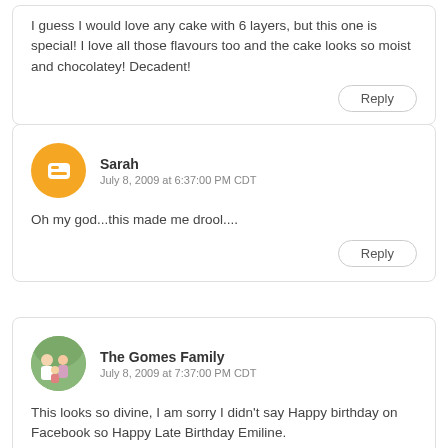I guess I would love any cake with 6 layers, but this one is special! I love all those flavours too and the cake looks so moist and chocolatey! Decadent!
Reply
Sarah
July 8, 2009 at 6:37:00 PM CDT
Oh my god...this made me drool....
Reply
The Gomes Family
July 8, 2009 at 7:37:00 PM CDT
This looks so divine, I am sorry I didn't say Happy birthday on Facebook so Happy Late Birthday Emiline.
Reply